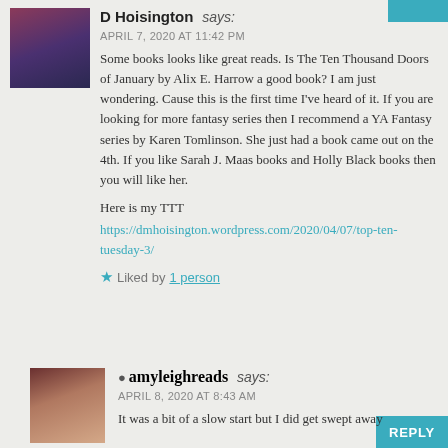[Figure (photo): Avatar photo of D Hoisington, a person with red/auburn hair wearing a blue hat, dark background]
D Hoisington says:
APRIL 7, 2020 AT 11:42 PM
Some books looks like great reads. Is The Ten Thousand Doors of January by Alix E. Harrow a good book? I am just wondering. Cause this is the first time I've heard of it. If you are looking for more fantasy series then I recommend a YA Fantasy series by Karen Tomlinson. She just had a book came out on the 4th. If you like Sarah J. Maas books and Holly Black books then you will like her.
Here is my TTT
https://dmhoisington.wordpress.com/2020/04/07/top-ten-tuesday-3/
Liked by 1 person
[Figure (photo): Avatar photo of amyleighreads, a woman with dark hair, bookshelves visible in background]
amyleighreads says:
APRIL 8, 2020 AT 8:43 AM
It was a bit of a slow start but I did get swept away